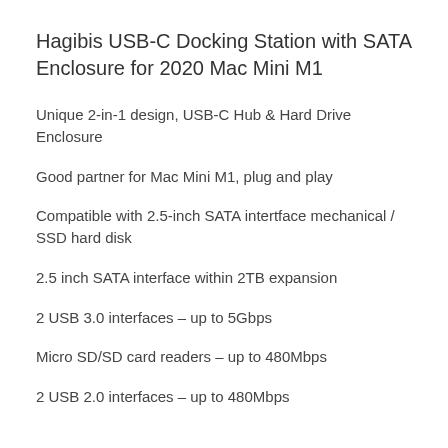Hagibis USB-C Docking Station with SATA Enclosure for 2020 Mac Mini M1
Unique 2-in-1 design, USB-C Hub & Hard Drive Enclosure
Good partner for Mac Mini M1, plug and play
Compatible with 2.5-inch SATA intertface mechanical / SSD hard disk
2.5 inch SATA interface within 2TB expansion
2 USB 3.0 interfaces – up to 5Gbps
Micro SD/SD card readers – up to 480Mbps
2 USB 2.0 interfaces – up to 480Mbps